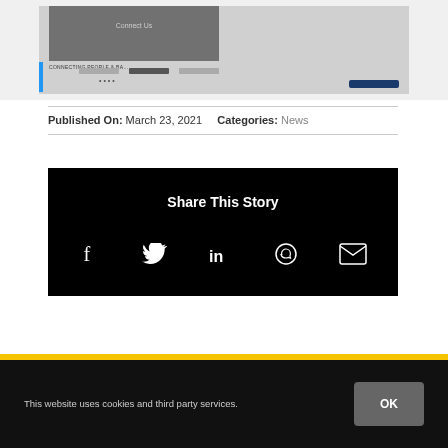[Figure (screenshot): Screenshot of a webpage with an image and navigation elements, including a blue sidebar accent, text labels, navigation tabs, and a dark blue button]
Published On: March 23, 2021   Categories: News
Share This Story
[Figure (infographic): Social sharing icons: Facebook, Twitter, LinkedIn, WhatsApp, Email on a black background]
This website uses cookies and third party services.
OK